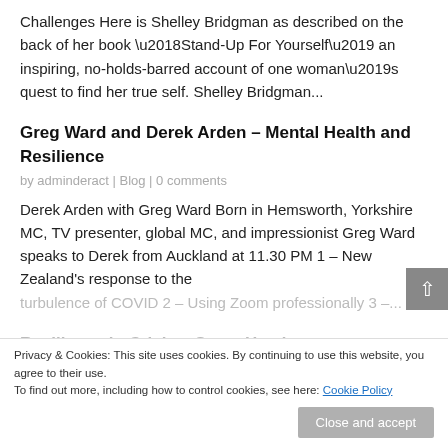Challenges Here is Shelley Bridgman as described on the back of her book ‘Stand-Up For Yourself’ an inspiring, no-holds-barred account of one woman’s quest to find her true self. Shelley Bridgman...
Greg Ward and Derek Arden – Mental Health and Resilience
by adminderact | Blog | 0 comments
Derek Arden with Greg Ward Born in Hemsworth, Yorkshire MC, TV presenter, global MC, and impressionist Greg Ward speaks to Derek from Auckland at 11.30 PM 1 – New Zealand’s response to the
turbulence of COVID 2 – Using Zoom professionally 3 –...
Resilience in Crisis – Steve Head
by adminderact | Blog | 0 comments
Privacy & Cookies: This site uses cookies. By continuing to use this website, you agree to their use.
To find out more, including how to control cookies, see here: Cookie Policy
Close and accept